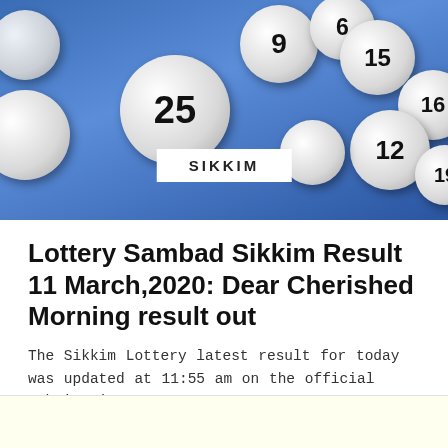[Figure (photo): Photo of lottery balls (white numbered balls) scattered against a blue background, with a white label reading SIKKIM in the lower center of the image.]
Lottery Sambad Sikkim Result 11 March,2020: Dear Cherished Morning result out
The Sikkim Lottery latest result for today was updated at 11:55 am on the official website i.e. http://www.sikkimlotteries.com/.
Wednesday 11th March 2020  —  by Newsd